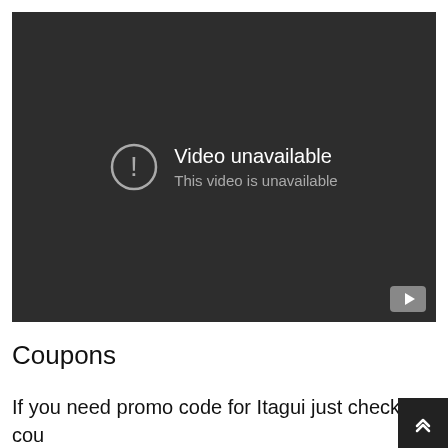[Figure (screenshot): Embedded YouTube video player showing 'Video unavailable - This video is unavailable' error message on a dark background, with a YouTube logo button in the bottom right corner.]
Coupons
If you need promo code for Itagui just check our coupons page. You can get first free ride or save money on drive.